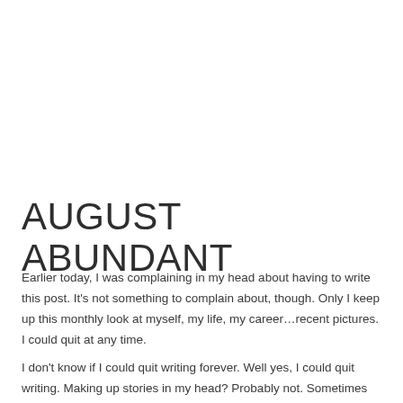AUGUST ABUNDANT
Earlier today, I was complaining in my head about having to write this post. It’s not something to complain about, though. Only I keep up this monthly look at myself, my life, my career…recent pictures. I could quit at any time.
I don’t know if I could quit writing forever. Well yes, I could quit writing. Making up stories in my head? Probably not. Sometimes it’s like